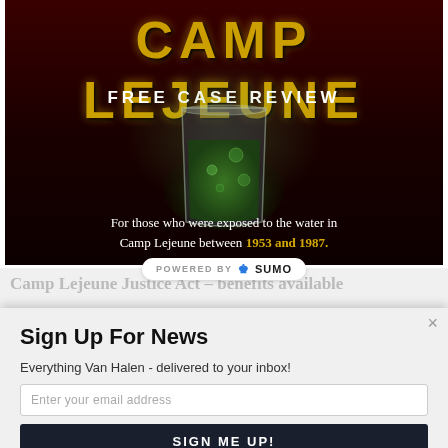[Figure (infographic): Camp Lejeune advertisement with dark red/black background, large yellow grunge-style title text 'CAMP LEJEUNE', subtitle 'FREE CASE REVIEW', a glass of murky green water, and text about exposure to contaminated water between 1953 and 1987.]
POWERED BY SUMO
Camp Lejeune Justice Act – benefits available
Sign Up For News
Everything Van Halen - delivered to your inbox!
Enter your email address
SIGN ME UP!